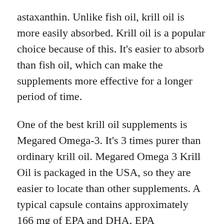astaxanthin. Unlike fish oil, krill oil is more easily absorbed. Krill oil is a popular choice because of this. It's easier to absorb than fish oil, which can make the supplements more effective for a longer period of time.
One of the best krill oil supplements is Megared Omega-3. It's 3 times purer than ordinary krill oil. Megared Omega 3 Krill Oil is packaged in the USA, so they are easier to locate than other supplements. A typical capsule contains approximately 166 mg of EPA and DHA. EPA Supplements are among the best sources of omega-3 fatty acid. It's worthwhile to compare a variety of products before you make a decision.
Other studies, such as those conducted on humans, have shown that EPA is an important